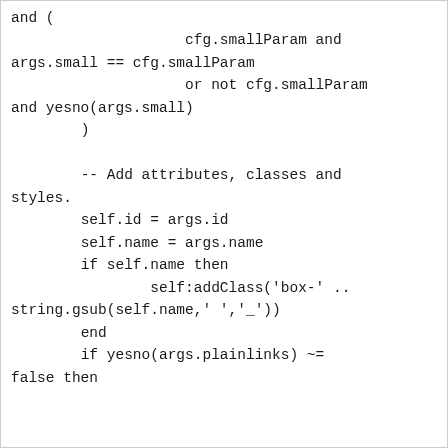and (
                    cfg.smallParam and
args.small == cfg.smallParam
                    or not cfg.smallParam
and yesno(args.small)
        )

        -- Add attributes, classes and
styles.
        self.id = args.id
        self.name = args.name
        if self.name then
                self:addClass('box-' ..
string.gsub(self.name,' ','_'))
        end
        if yesno(args.plainlinks) ~=
false then